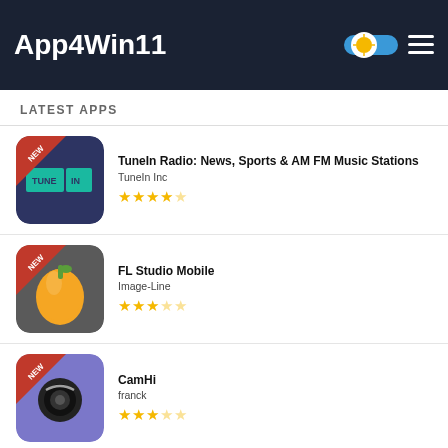App4Win11
LATEST APPS
TuneIn Radio: News, Sports & AM FM Music Stations | TuneIn Inc | 4.5 stars
FL Studio Mobile | Image-Line | 3 stars
CamHi | franck | 3 stars
Brave Frontier | gumi Inc. | 4 stars